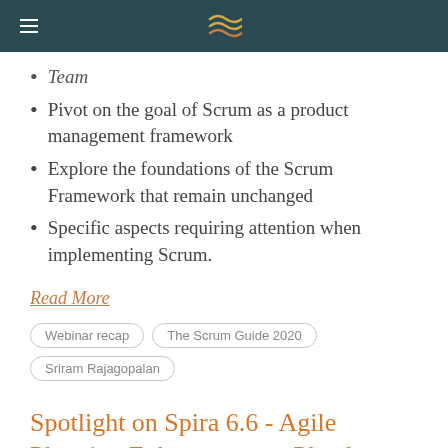[navigation header with logo]
Team
Pivot on the goal of Scrum as a product management framework
Explore the foundations of the Scrum Framework that remain unchanged
Specific aspects requiring attention when implementing Scrum.
Read More
Webinar recap
The Scrum Guide 2020
Sriram Rajagopalan
Spotlight on Spira 6.6 - Agile Planning Enhancements, Plan by Points
August 13, 2020